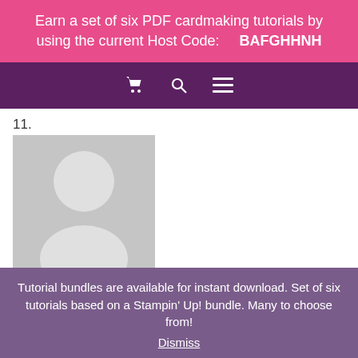Earn a set of six PDF cardmaking tutorials by using the current Host Code:    BAFGHHNH
[Figure (screenshot): Navigation bar with shopping cart, search, and hamburger menu icons on purple background]
11.
[Figure (illustration): Default grey avatar placeholder with silhouette of a person]
Rachel Macleod on August 5, 2017 at 6:43 am
This is awesome, Lisa! Perfect for our challenge this month. The party hats are so fun too!
12.
[Figure (illustration): Default grey avatar placeholder (partially visible)]
Tutorial bundles are available for instant download. Set of six tutorials based on a Stampin' Up! bundle. Many to choose from! Dismiss